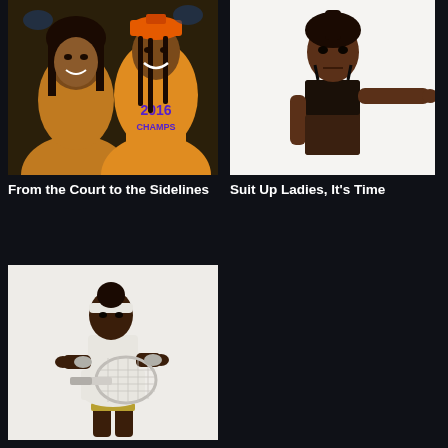[Figure (photo): Two women smiling, one wearing an orange 2016 CHAMPS shirt and orange cap]
From the Court to the Sidelines
[Figure (photo): Young woman in black sports bra extending arm sideways against white background]
Suit Up Ladies, It's Time
[Figure (photo): Woman in white tennis outfit holding a tennis racket, posed on white background]
Aces: Playing for Change